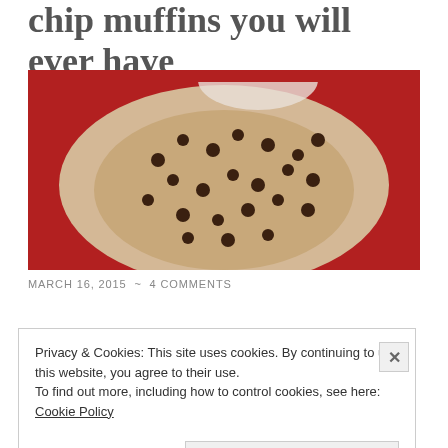chip muffins you will ever have
[Figure (photo): Close-up photo of chocolate chip muffin batter in a red mixing bowl, showing oats and chocolate chips mixed into pale batter]
MARCH 16, 2015 ~ 4 COMMENTS
Privacy & Cookies: This site uses cookies. By continuing to use this website, you agree to their use.
To find out more, including how to control cookies, see here: Cookie Policy
Close and accept